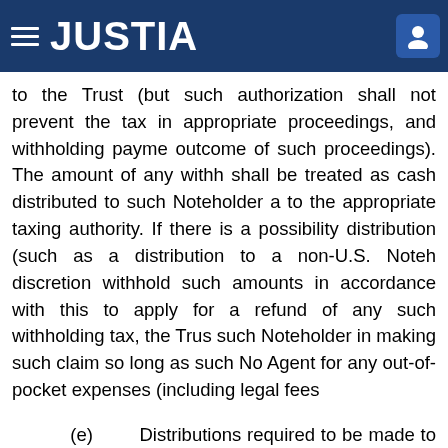JUSTIA
to the Trust (but such authorization shall not prevent the tax in appropriate proceedings, and withholding payme outcome of such proceedings). The amount of any withh shall be treated as cash distributed to such Noteholder a to the appropriate taxing authority. If there is a possibility distribution (such as a distribution to a non-U.S. Noteh discretion withhold such amounts in accordance with this to apply for a refund of any such withholding tax, the Trus such Noteholder in making such claim so long as such No Agent for any out-of-pocket expenses (including legal fees
(e)      Distributions required to be made to Noteh each Noteholder of record on the preceding Record Date funds, to the account of such Holder at a bank or other en Noteholder shall have provided to the Note Registrar a Business Days prior to such Distribution Date and su denomination of not less than $1,000,000 or (ii) by check